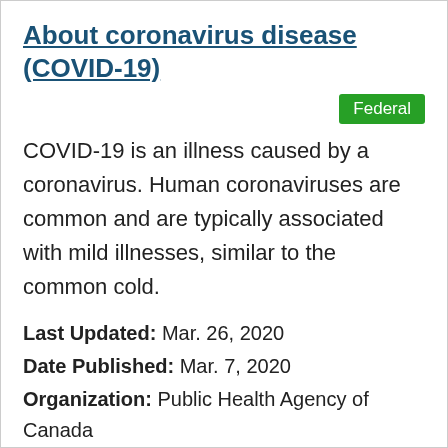About coronavirus disease (COVID-19)
Federal
COVID-19 is an illness caused by a coronavirus. Human coronaviruses are common and are typically associated with mild illnesses, similar to the common cold.
Last Updated: Mar. 26, 2020
Date Published: Mar. 7, 2020
Organization: Public Health Agency of Canada
Formats: PDF HTML